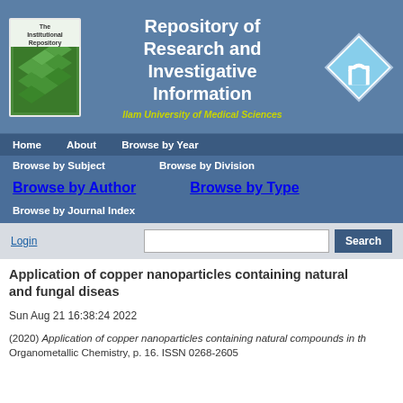[Figure (screenshot): Repository of Research and Investigative Information website header with book cover image, site title, university logo, navigation bars, login bar, and article metadata]
Application of copper nanoparticles containing natural and fungal diseas
Sun Aug 21 16:38:24 2022
(2020) Application of copper nanoparticles containing natural compounds in th... Organometallic Chemistry, p. 16. ISSN 0268-2605